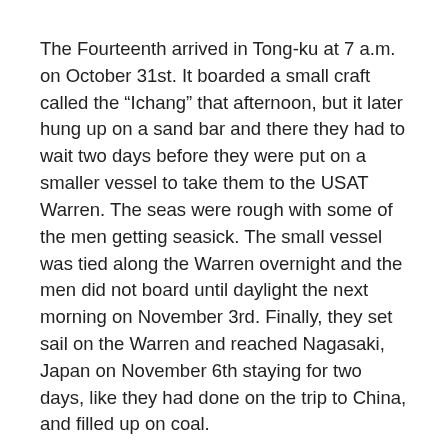The Fourteenth arrived in Tong-ku at 7 a.m. on October 31st. It boarded a small craft called the "Ichang" that afternoon, but it later hung up on a sand bar and there they had to wait two days before they were put on a smaller vessel to take them to the USAT Warren. The seas were rough with some of the men getting seasick. The small vessel was tied along the Warren overnight and the men did not board until daylight the next morning on November 3rd. Finally, they set sail on the Warren and reached Nagasaki, Japan on November 6th staying for two days, like they had done on the trip to China, and filled up on coal.
On the way to Manila the Warren went through a strong typhoon in the China Sea making the soldiers even less fond of sea travel, if that was possible. They arrived at the Philippines on November 13th and thankful to be getting off the ship they reached...